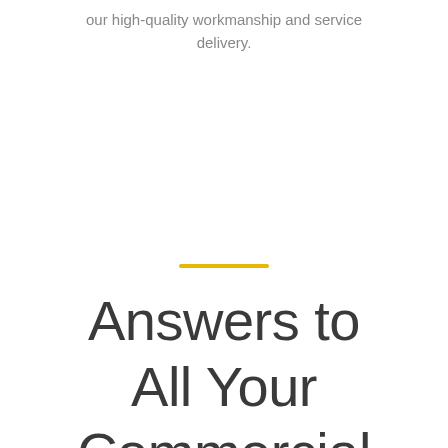our high-quality workmanship and service delivery.
Answers to All Your Commercial